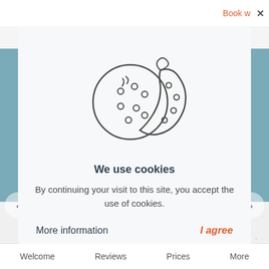Book w  ×
La Pinède
★ ★ ★ ★
Les Mathes, France
[Figure (illustration): Two cookies illustration — one whole cookie with chocolate chips and one bitten cookie, drawn in outline style]
We use cookies
By continuing your visit to this site, you accept the use of cookies.
More information    I agree
Welcome   Reviews   Prices   More